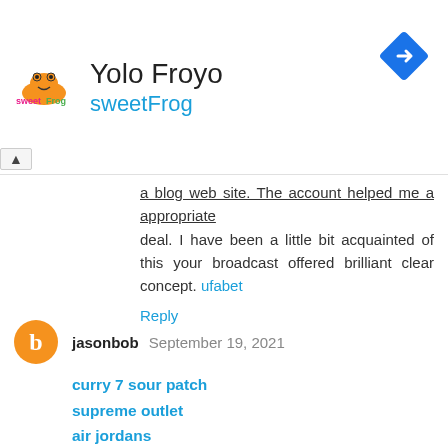[Figure (logo): sweetFrog logo - orange frog icon with green and pink text]
Yolo Froyo
sweetFrog
[Figure (other): Blue diamond-shaped navigation/directions icon with white arrow]
a blog web site.  The account helped me a appropriate deal. I have been a little bit acquainted of this your broadcast offered brilliant clear concept. ufabet
Reply
[Figure (other): Orange circle avatar with white letter B (Blogger icon)]
jasonbob  September 19, 2021
curry 7 sour patch
supreme outlet
air jordans
air jordan
curry shoes
kyrie 5 spongebob
air jordan 1
nike sb
birkin bag
off white